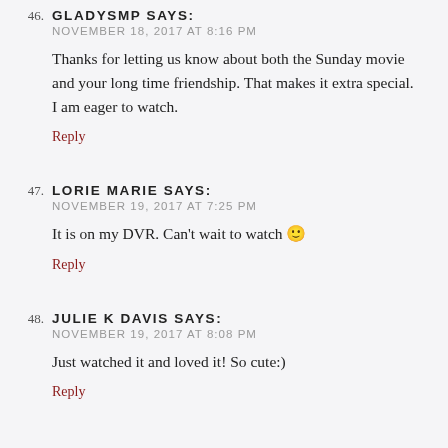46. GLADYSMP SAYS:
NOVEMBER 18, 2017 AT 8:16 PM
Thanks for letting us know about both the Sunday movie and your long time friendship. That makes it extra special. I am eager to watch.
Reply
47. LORIE MARIE SAYS:
NOVEMBER 19, 2017 AT 7:25 PM
It is on my DVR. Can't wait to watch 🙂
Reply
48. JULIE K DAVIS SAYS:
NOVEMBER 19, 2017 AT 8:08 PM
Just watched it and loved it! So cute:)
Reply